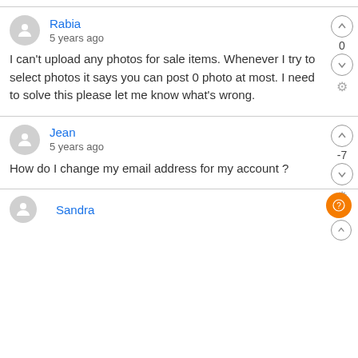Rabia
5 years ago
I can't upload any photos for sale items. Whenever I try to select photos it says you can post 0 photo at most. I need to solve this please let me know what's wrong.
Jean
5 years ago
How do I change my email address for my account?
Sandra